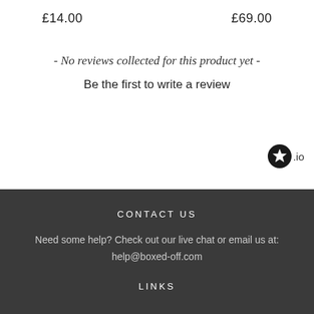£14.00   £69.00
- No reviews collected for this product yet -
Be the first to write a review
[Figure (logo): Stamped.io star logo with black circle containing a white star, followed by '.io' text]
CONTACT US
Need some help? Check out our live chat or email us at: help@boxed-off.com
LINKS